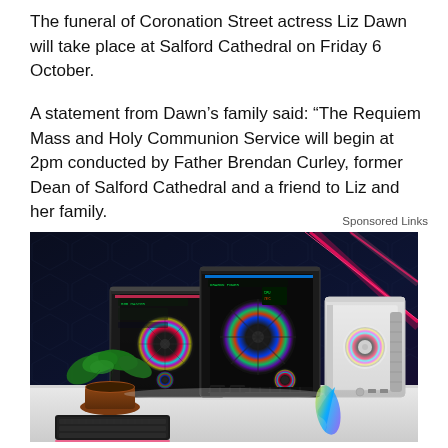The funeral of Coronation Street actress Liz Dawn will take place at Salford Cathedral on Friday 6 October.
A statement from Dawn’s family said: “The Requiem Mass and Holy Communion Service will begin at 2pm conducted by Father Brendan Curley, former Dean of Salford Cathedral and a friend to Liz and her family.
Sponsored Links
[Figure (photo): Advertisement photo showing gaming PC tower cases with RGB lighting fans on a white surface, with a small potted plant and keyboard in foreground, against a dark background with neon lighting effects.]